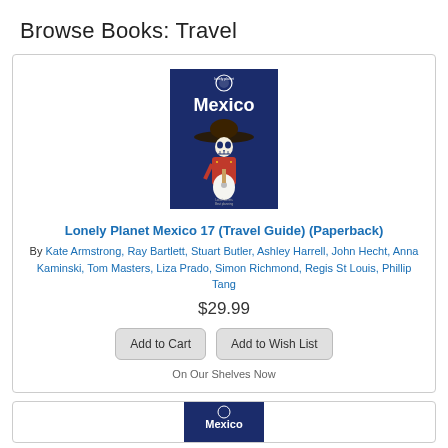Browse Books: Travel
[Figure (illustration): Book cover of Lonely Planet Mexico 17 (Travel Guide): dark blue background with a skeleton figure dressed as a mariachi playing guitar, wearing a large sombrero. Lonely Planet logo at top, 'Mexico' in large white text.]
Lonely Planet Mexico 17 (Travel Guide) (Paperback)
By Kate Armstrong, Ray Bartlett, Stuart Butler, Ashley Harrell, John Hecht, Anna Kaminski, Tom Masters, Liza Prado, Simon Richmond, Regis St Louis, Phillip Tang
$29.99
Add to Cart
Add to Wish List
On Our Shelves Now